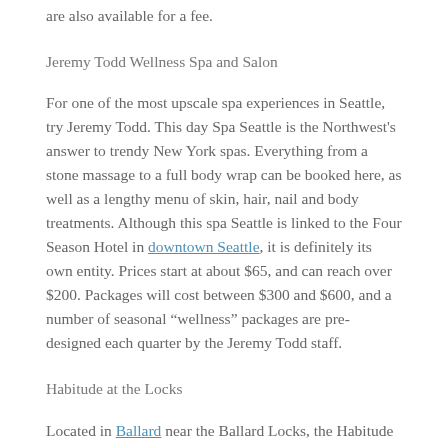are also available for a fee.
Jeremy Todd Wellness Spa and Salon
For one of the most upscale spa experiences in Seattle, try Jeremy Todd. This day Spa Seattle is the Northwest's answer to trendy New York spas. Everything from a stone massage to a full body wrap can be booked here, as well as a lengthy menu of skin, hair, nail and body treatments. Although this spa Seattle is linked to the Four Season Hotel in downtown Seattle, it is definitely its own entity. Prices start at about $65, and can reach over $200. Packages will cost between $300 and $600, and a number of seasonal “wellness” packages are pre-designed each quarter by the Jeremy Todd staff.
Habitude at the Locks
Located in Ballard near the Ballard Locks, the Habitude Salon and Day Spa Seattle is purely Seattle and all organic.